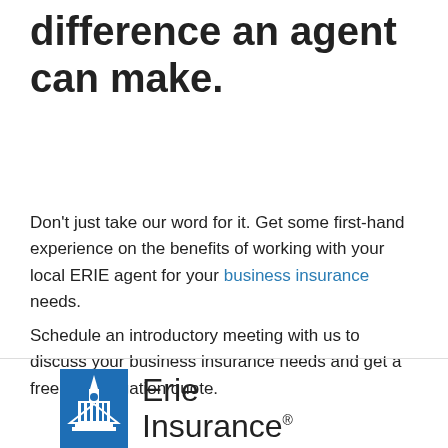difference an agent can make.
Don't just take our word for it. Get some first-hand experience on the benefits of working with your local ERIE agent for your business insurance needs.
Schedule an introductory meeting with us to discuss your business insurance needs and get a free, no-obligation quote.
[Figure (logo): Erie Insurance logo: blue rectangle with white building/steeple icon, followed by text 'Erie Insurance' with registered trademark symbol]